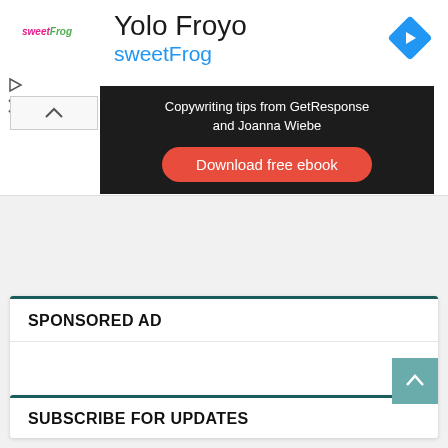[Figure (screenshot): SweetFrog Yolo Froyo advertisement banner with logo, title, navigation arrow icon, and a dark-background GetResponse ebook ad with orange download button]
SPONSORED AD
SUBSCRIBE FOR UPDATES